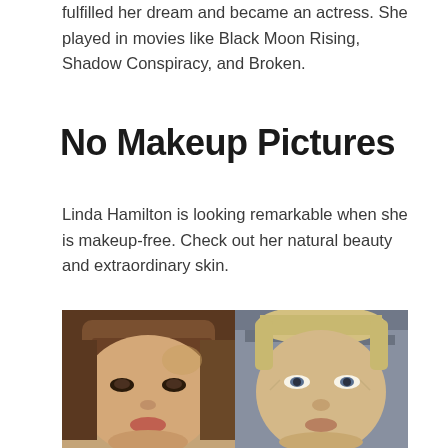fulfilled her dream and became an actress. She played in movies like Black Moon Rising, Shadow Conspiracy, and Broken.
No Makeup Pictures
Linda Hamilton is looking remarkable when she is makeup-free. Check out her natural beauty and extraordinary skin.
[Figure (photo): Side-by-side photos of Linda Hamilton: younger photo on the left with brown hair and bangs, older photo on the right with short blonde hair, showing natural skin without makeup.]